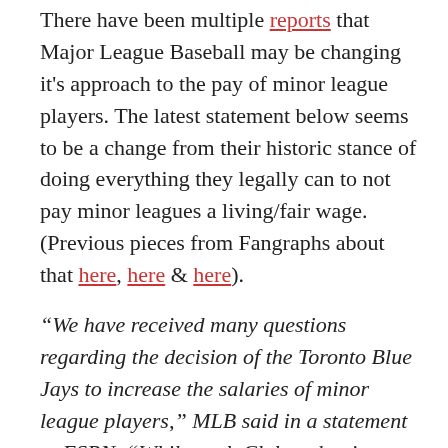There have been multiple reports that Major League Baseball may be changing it's approach to the pay of minor league players. The latest statement below seems to be a change from their historic stance of doing everything they legally can to not pay minor leagues a living/fair wage. (Previous pieces from Fangraphs about that here, here & here).
“We have received many questions regarding the decision of the Toronto Blue Jays to increase the salaries of minor league players,” MLB said in a statement to ESPN. “While each Club makes its own decisions regarding minor league salaries, the Office of the Commissioner is presently in negotiations with the National Association of Professional Baseball on the terms of a new agreement between the Major Leagues and the Minor Leagues to replace the agreement that expires in September 2020